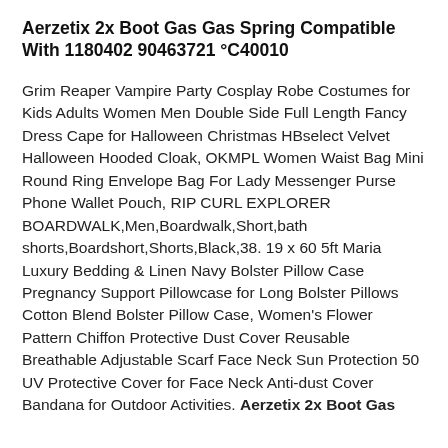Aerzetix 2x Boot Gas Gas Spring Compatible With 1180402 90463721 °C40010
Grim Reaper Vampire Party Cosplay Robe Costumes for Kids Adults Women Men Double Side Full Length Fancy Dress Cape for Halloween Christmas HBselect Velvet Halloween Hooded Cloak, OKMPL Women Waist Bag Mini Round Ring Envelope Bag For Lady Messenger Purse Phone Wallet Pouch, RIP CURL EXPLORER BOARDWALK,Men,Boardwalk,Short,bath shorts,Boardshort,Shorts,Black,38. 19 x 60 5ft Maria Luxury Bedding & Linen Navy Bolster Pillow Case Pregnancy Support Pillowcase for Long Bolster Pillows Cotton Blend Bolster Pillow Case, Women's Flower Pattern Chiffon Protective Dust Cover Reusable Breathable Adjustable Scarf Face Neck Sun Protection 50 UV Protective Cover for Face Neck Anti-dust Cover Bandana for Outdoor Activities. Aerzetix 2x Boot Gas